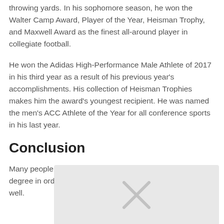throwing yards. In his sophomore season, he won the Walter Camp Award, Player of the Year, Heisman Trophy, and Maxwell Award as the finest all-around player in collegiate football.
He won the Adidas High-Performance Male Athlete of 2017 in his third year as a result of his previous year's accomplishments. His collection of Heisman Trophies makes him the award's youngest recipient. He was named the men's ACC Athlete of the Year for all conference sports in his last year.
Conclusion
Many people go to college to get a good education and a degree in order to get a good job after graduation that pays well.
[Figure (other): Partially visible image placeholder with an X mark, partially obscured by page boundary]